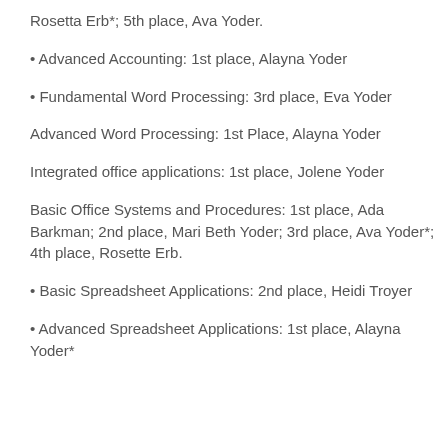Rosetta Erb*; 5th place, Ava Yoder.
Advanced Accounting: 1st place, Alayna Yoder
Fundamental Word Processing: 3rd place, Eva Yoder
Advanced Word Processing: 1st Place, Alayna Yoder
Integrated office applications: 1st place, Jolene Yoder
Basic Office Systems and Procedures: 1st place, Ada Barkman; 2nd place, Mari Beth Yoder; 3rd place, Ava Yoder*; 4th place, Rosette Erb.
Basic Spreadsheet Applications: 2nd place, Heidi Troyer
Advanced Spreadsheet Applications: 1st place, Alayna Yoder*